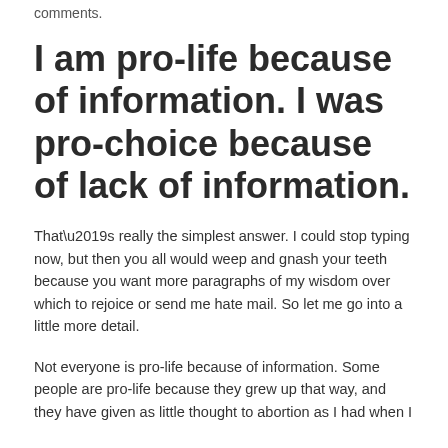comments.
I am pro-life because of information. I was pro-choice because of lack of information.
That’s really the simplest answer. I could stop typing now, but then you all would weep and gnash your teeth because you want more paragraphs of my wisdom over which to rejoice or send me hate mail. So let me go into a little more detail.
Not everyone is pro-life because of information. Some people are pro-life because they grew up that way, and they have given as little thought to abortion as I had when I